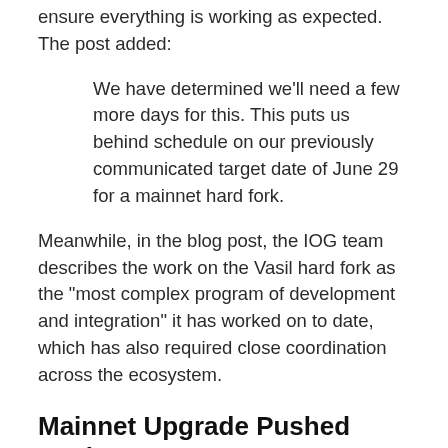ensure everything is working as expected. The post added:
We have determined we'll need a few more days for this. This puts us behind schedule on our previously communicated target date of June 29 for a mainnet hard fork.
Meanwhile, in the blog post, the IOG team describes the work on the Vasil hard fork as the “most complex program of development and integration” it has worked on to date, which has also required close coordination across the ecosystem.
Mainnet Upgrade Pushed Back
According to the blog post, the final decision to